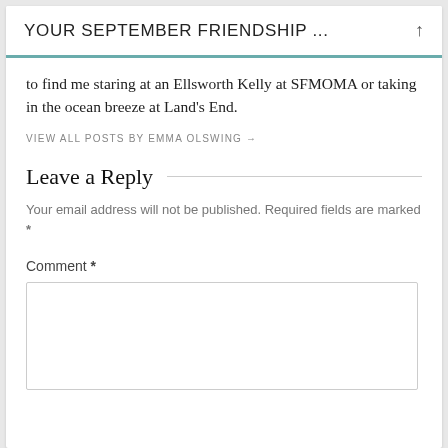YOUR SEPTEMBER FRIENDSHIP ...
to find me staring at an Ellsworth Kelly at SFMOMA or taking in the ocean breeze at Land's End.
VIEW ALL POSTS BY EMMA OLSWING →
Leave a Reply
Your email address will not be published. Required fields are marked *
Comment *